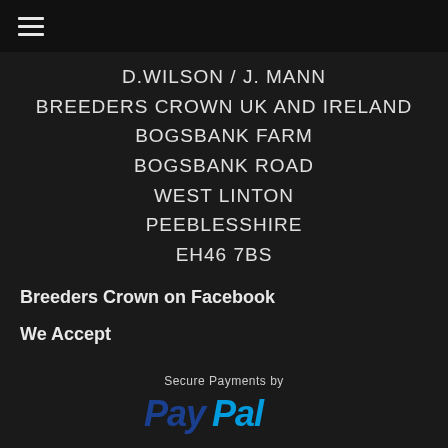≡ (hamburger menu)
D.WILSON / J. MANN
BREEDERS CROWN UK AND IRELAND
BOGSBANK FARM
BOGSBANK ROAD
WEST LINTON
PEEBLESHIRE
EH46 7BS
Breeders Crown on Facebook
We Accept
Secure Payments by
PayPal